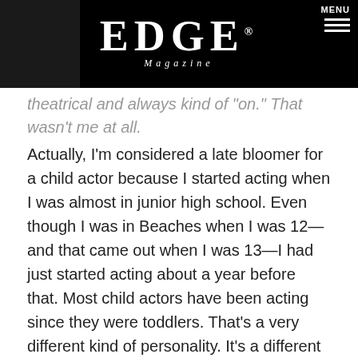EDGE Magazine
theatrical and always kind of 'on.'  That wasn't me at all.
Actually, I'm considered a late bloomer for a child actor because I started acting when I was almost in junior high school.  Even though I was in Beaches when I was 12—and that came out when I was 13—I had just started acting about a year before that. Most child actors have been acting since they were toddlers. That's a very different kind of personality. It's a different kind of structure, as far as how you're raised and the expectations of you.
EDGE: Did that help you avoid some of the pitfalls other young actors often experience?
MB: I do think part of it is that I wasn't in the industry for my formative years. I had a different kind of perspective on